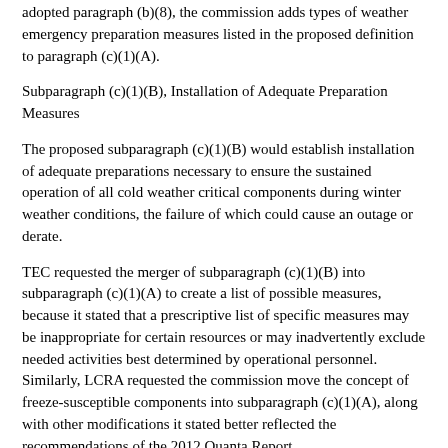adopted paragraph (b)(8), the commission adds types of weather emergency preparation measures listed in the proposed definition to paragraph (c)(1)(A).
Subparagraph (c)(1)(B), Installation of Adequate Preparation Measures
The proposed subparagraph (c)(1)(B) would establish installation of adequate preparations necessary to ensure the sustained operation of all cold weather critical components during winter weather conditions, the failure of which could cause an outage or derate.
TEC requested the merger of subparagraph (c)(1)(B) into subparagraph (c)(1)(A) to create a list of possible measures, because it stated that a prescriptive list of specific measures may be inappropriate for certain resources or may inadvertently exclude needed activities best determined by operational personnel. Similarly, LCRA requested the commission move the concept of freeze-susceptible components into subparagraph (c)(1)(A), along with other modifications it stated better reflected the recommendations of the 2012 Quanta Report.
Commission Response
The commission declines to adopt TEC's and LCRA's